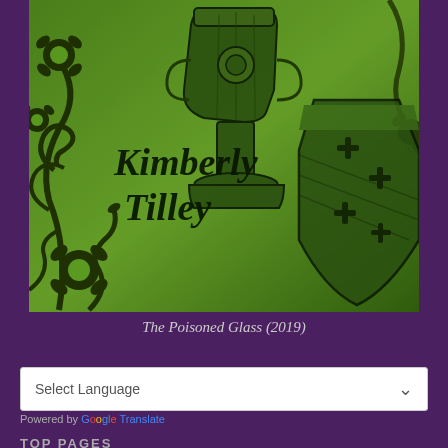[Figure (illustration): Book cover for 'The Poisoned Glass' by Kimberly Tilley (2019). Green and black illustrated cover showing an ornate goblet/chalice with a shield bearing cross symbols, surrounded by decorative black floral scrollwork on a green background. The author name 'Kimberly Tilley' is written in stylized black text.]
The Poisoned Glass (2019)
Select Language
Powered by Google Translate
TOP PAGES